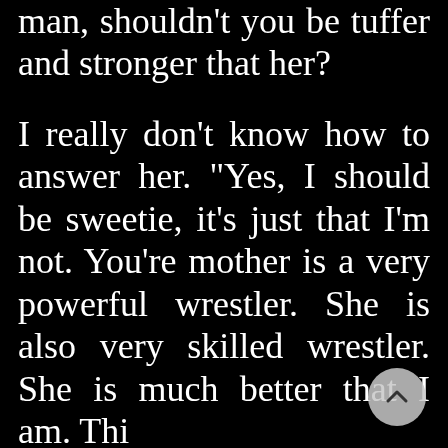man, shouldn't you be tuffer and stronger that her?
I really don't know how to answer her. "Yes, I should be sweetie, it's just that I'm not. You're mother is a very powerful wrestler. She is also very skilled wrestler. She is much better that I am. This the eighth time she has